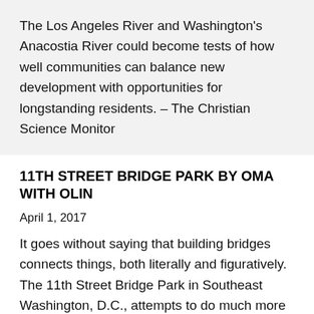The Los Angeles River and Washington’s Anacostia River could become tests of how well communities can balance new development with opportunities for longstanding residents. – The Christian Science Monitor
11TH STREET BRIDGE PARK BY OMA WITH OLIN
April 1, 2017
It goes without saying that building bridges connects things, both literally and figuratively. The 11th Street Bridge Park in Southeast Washington, D.C., attempts to do much more – Architectural Record